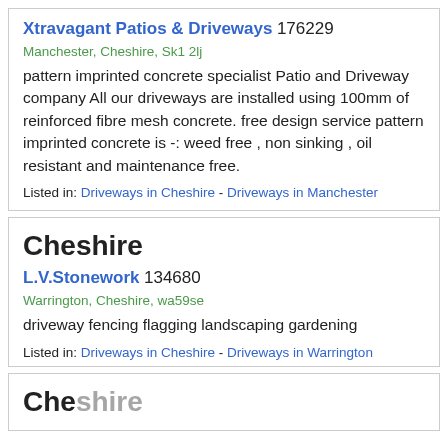Xtravagant Patios & Driveways 176229
Manchester, Cheshire, Sk1 2lj
pattern imprinted concrete specialist Patio and Driveway company All our driveways are installed using 100mm of reinforced fibre mesh concrete. free design service pattern imprinted concrete is -: weed free , non sinking , oil resistant and maintenance free.
Listed in: Driveways in Cheshire - Driveways in Manchester
Cheshire
L.V.Stonework 134680
Warrington, Cheshire, wa59se
driveway fencing flagging landscaping gardening
Listed in: Driveways in Cheshire - Driveways in Warrington
Che...